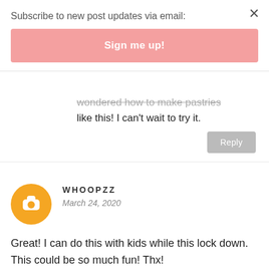Subscribe to new post updates via email:
Sign me up!
wondered how to make pastries like this! I can't wait to try it.
Reply
WHOOPZZ
March 24, 2020
Great! I can do this with kids while this lock down. This could be so much fun! Thx!
Reply